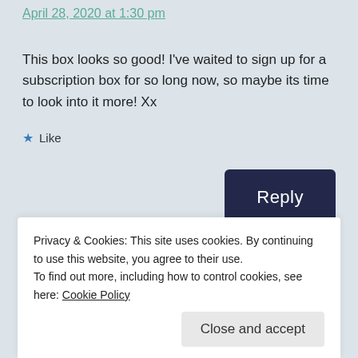April 28, 2020 at 1:30 pm
This box looks so good! I've waited to sign up for a subscription box for so long now, so maybe its time to look into it more! Xx
★ Like
Reply
Privacy & Cookies: This site uses cookies. By continuing to use this website, you agree to their use.
To find out more, including how to control cookies, see here: Cookie Policy
Close and accept